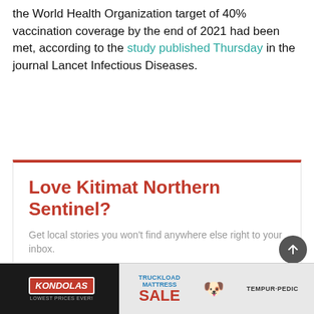the World Health Organization target of 40% vaccination coverage by the end of 2021 had been met, according to the study published Thursday in the journal Lancet Infectious Diseases.
[Figure (other): Subscription promotion box with orange-red top border. Title: 'Love Kitimat Northern Sentinel?' Subtitle: 'Get local stories you won't find anywhere else right to your inbox.']
Read More
[Figure (other): Advertisement banner for Kondolas Truckload Mattress Sale featuring Tempur-Pedic. Dark background on left with Kondolas logo and 'Lowest Prices Ever!', right side shows Truckload Mattress Sale text and Tempur-Pedic branding.]